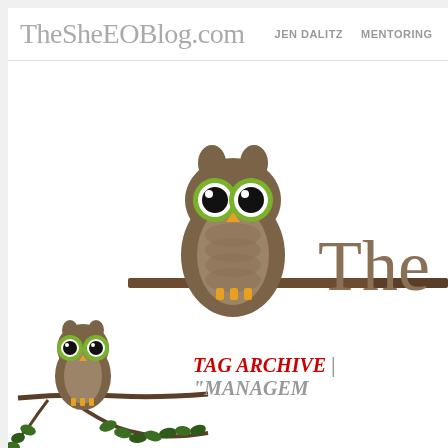TheSheEOBlog.com  JEN DALITZ  MENTORING  SPEA...
[Figure (illustration): Cartoon owl with green eyes and yellow feet perched on a brown branch, and large handwritten text 'The S' visible to the right]
[Figure (illustration): Small cartoon owl with green eyes sitting on a decorative tree branch with green leaves]
TAG ARCHIVE | "MANAGEM...